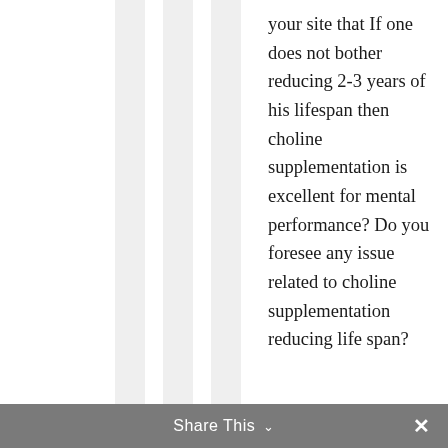your site that If one does not bother reducing 2-3 years of his lifespan then choline supplementation is excellent for mental performance? Do you foresee any issue related to choline supplementation reducing life span?
Share This ∨  ✕